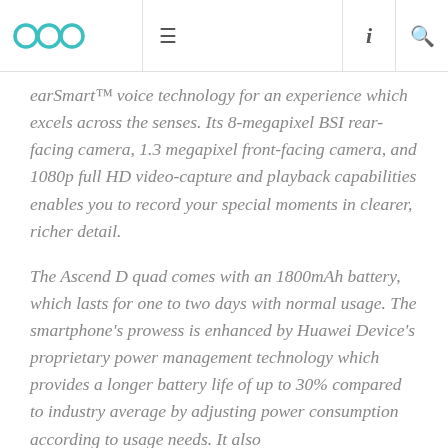OOC logo with navigation icons
earSmart™ voice technology for an experience which excels across the senses. Its 8-megapixel BSI rear-facing camera, 1.3 megapixel front-facing camera, and 1080p full HD video-capture and playback capabilities enables you to record your special moments in clearer, richer detail.
The Ascend D quad comes with an 1800mAh battery, which lasts for one to two days with normal usage. The smartphone's prowess is enhanced by Huawei Device's proprietary power management technology which provides a longer battery life of up to 30% compared to industry average by adjusting power consumption according to usage needs. It also